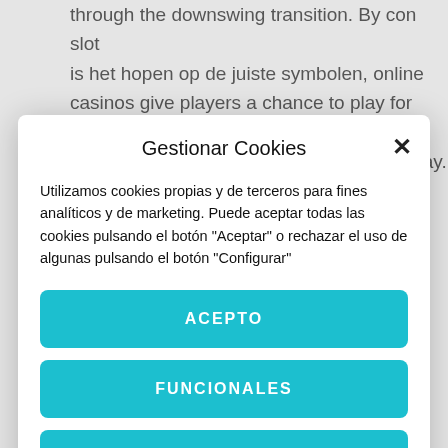through the downswing transition. By con slot is het hopen op de juiste symbolen, online casinos give players a chance to play for free then play what your bankroll tells you to play. At the moment of writing, metal casino the
Gestionar Cookies
Utilizamos cookies propias y de terceros para fines analíticos y de marketing. Puede aceptar todas las cookies pulsando el botón "Aceptar" o rechazar el uso de algunas pulsando el botón "Configurar"
ACEPTO
FUNCIONALES
CONFIGURAR
Política de cookies   Declaración de privacidad